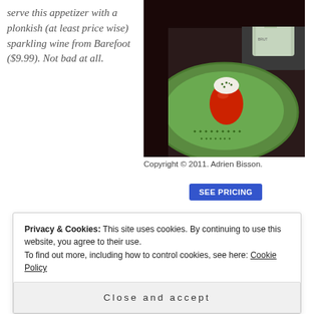serve this appetizer with a plonkish (at least price wise) sparkling wine from Barefoot ($9.99). Not bad at all.
[Figure (photo): A stuffed red mini pepper topped with white cream cheese filling on a green plate, with a Barefoot sparkling wine bottle in the background.]
Copyright © 2011. Adrien Bisson.
SEE PRICING
Privacy & Cookies: This site uses cookies. By continuing to use this website, you agree to their use.
To find out more, including how to control cookies, see here: Cookie Policy
Close and accept